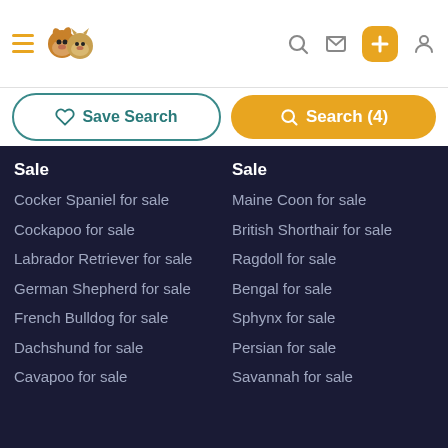[Figure (screenshot): App header with hamburger menu, pet logo (dog and cat), search icon, mail icon, add button (orange), and user icon]
[Figure (screenshot): Two buttons: Save Search (outlined with heart icon) and Search (4) (orange with search icon)]
Sale
Cocker Spaniel for sale
Cockapoo for sale
Labrador Retriever for sale
German Shepherd for sale
French Bulldog for sale
Dachshund for sale
Cavapoo for sale
Sale
Maine Coon for sale
British Shorthair for sale
Ragdoll for sale
Bengal for sale
Sphynx for sale
Persian for sale
Savannah for sale